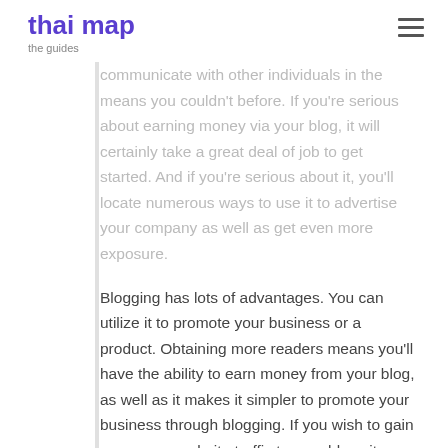thai map – the guides
communicate with other individuals in the guides means you couldn't before. If you're serious about earning money via your blog, it will certainly take a great deal of job to get started. And if you're serious about it, you'll locate numerous ways to use it to advertise your company as well as get even more exposure.
Blogging has lots of advantages. You can utilize it to promote your business or a product. Obtaining more readers means you'll have the ability to earn money from your blog, as well as it makes it simpler to promote your business through blogging. If you wish to gain even more website traffic to your blog site, you can utilize SEO devices.